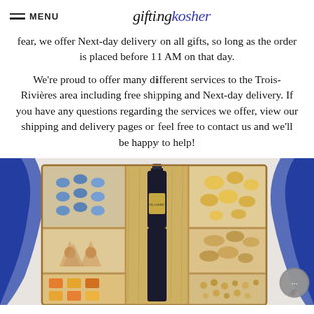MENU | giftingkosher
fear, we offer Next-day delivery on all gifts, so long as the order is placed before 11 AM on that day.
We're proud to offer many different services to the Trois-Rivières area including free shipping and Next-day delivery. If you have any questions regarding the services we offer, view our shipping and delivery pages or feel free to contact us and we'll be happy to help!
[Figure (photo): A wooden gift box with compartments containing various kosher foods including blue candies, dried fruit, pastries, and a dark wine bottle in the center, decorated with blue ribbon.]